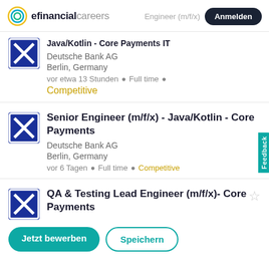efinancialcareers | Anmelden
Java/Kotlin - Core Payments IT
Deutsche Bank AG
Berlin, Germany
vor etwa 13 Stunden • Full time • Competitive
Senior Engineer (m/f/x) - Java/Kotlin - Core Payments
Deutsche Bank AG
Berlin, Germany
vor 6 Tagen • Full time • Competitive
QA & Testing Lead Engineer (m/f/x)- Core Payments
Jetzt bewerben | Speichern